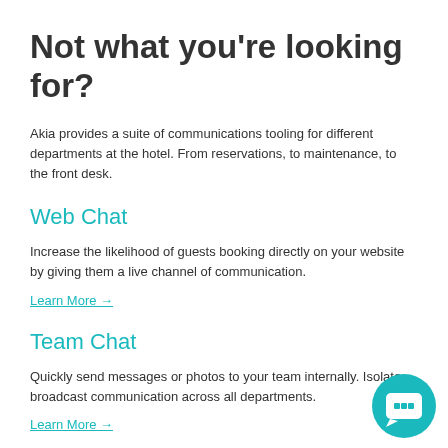Not what you're looking for?
Akia provides a suite of communications tooling for different departments at the hotel. From reservations, to maintenance, to the front desk.
Web Chat
Increase the likelihood of guests booking directly on your website by giving them a live channel of communication.
Learn More →
Team Chat
Quickly send messages or photos to your team internally. Isolate broadcast communication across all departments.
Learn More →
[Figure (logo): Teal circular chat/video icon button in bottom right corner]